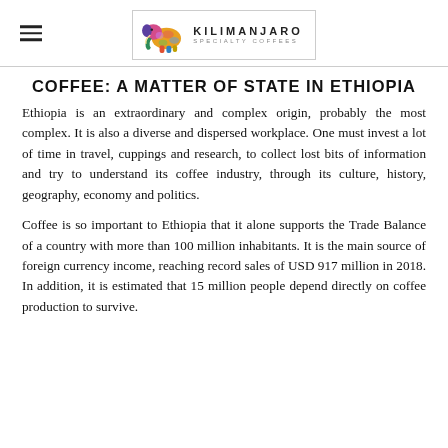KILIMANJARO SPECIALTY COFFEES
COFFEE: A MATTER OF STATE IN ETHIOPIA
Ethiopia is an extraordinary and complex origin, probably the most complex. It is also a diverse and dispersed workplace. One must invest a lot of time in travel, cuppings and research, to collect lost bits of information and try to understand its coffee industry, through its culture, history, geography, economy and politics.
Coffee is so important to Ethiopia that it alone supports the Trade Balance of a country with more than 100 million inhabitants. It is the main source of foreign currency income, reaching record sales of USD 917 million in 2018. In addition, it is estimated that 15 million people depend directly on coffee production to survive.